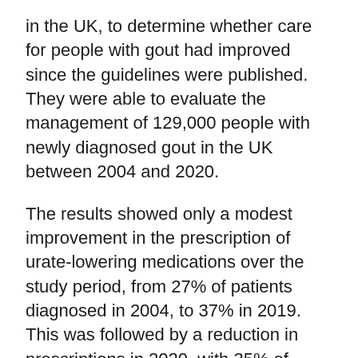in the UK, to determine whether care for people with gout had improved since the guidelines were published. They were able to evaluate the management of 129,000 people with newly diagnosed gout in the UK between 2004 and 2020.
The results showed only a modest improvement in the prescription of urate-lowering medications over the study period, from 27% of patients diagnosed in 2004, to 37% in 2019. This was followed by a reduction in prescriptions in 2020, with 35% of patients being prescribed medication, which may reflect reduced access to care because of the COVID-19 pandemic.
Researchers also showed that just one in six patients